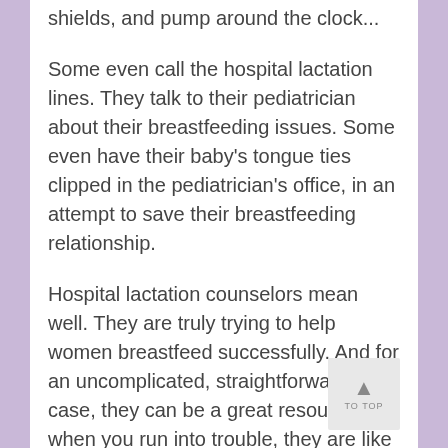shields, and pump around the clock...
Some even call the hospital lactation lines. They talk to their pediatrician about their breastfeeding issues. Some even have their baby's tongue ties clipped in the pediatrician's office, in an attempt to save their breastfeeding relationship.
Hospital lactation counselors mean well. They are truly trying to help women breastfeed successfully. And for an uncomplicated, straightforward case, they can be a great resource! But when you run into trouble, they are like the lube techs at the tire and lube shop. They are really great at basic maintenance, but not so great at diagnostics.